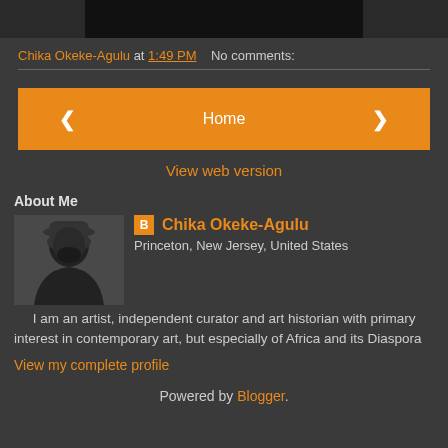[Figure (photo): Top partial image bar, dark/black image fragment]
Chika Okeke-Agulu at 1:49 PM   No comments:
[Figure (infographic): Navigation bar with left arrow button, Home button, and right arrow button]
View web version
About Me
[Figure (photo): Black and white profile photo of Chika Okeke-Agulu wearing a hat]
Chika Okeke-Agulu
Princeton, New Jersey, United States
I am an artist, independent curator and art historian with primary interest in contemporary art, but especially of Africa and its Diaspora
View my complete profile
Powered by Blogger.